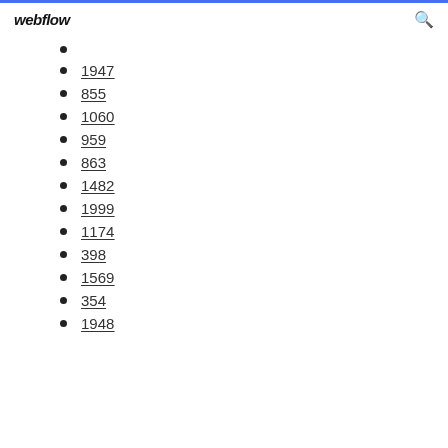webflow
1947
855
1060
959
863
1482
1999
1174
398
1569
354
1948